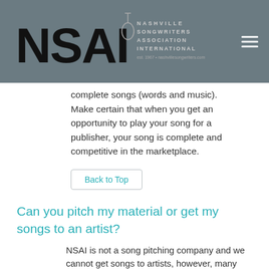NSAI Nashville Songwriters Association International
complete songs (words and music). Make certain that when you get an opportunity to play your song for a publisher, your song is complete and competitive in the marketplace.
Back to Top
Can you pitch my material or get my songs to an artist?
NSAI is not a song pitching company and we cannot get songs to artists, however, many of our members' songs are presented on a quarterly basis to major publishers and A&R label representatives through our NSAI Song Evaluation service and on our Top 40 Page. Evaluators recommend songs for the quarterly publisher luncheon